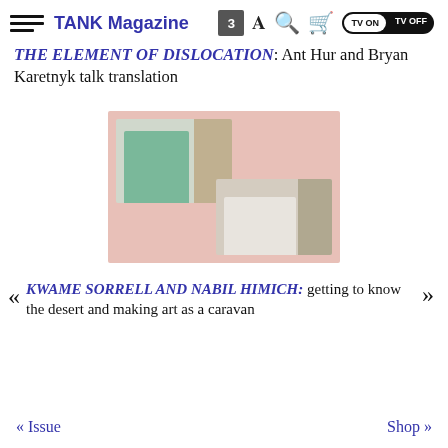TANK Magazine
THE ELEMENT OF DISLOCATION: Ant Hur and Bryan Karetnyk talk translation
[Figure (photo): Screenshot of a video call showing two people in separate windows against a pink background. Top left window shows a person laughing in a green shirt with bookshelves behind them. Bottom right window shows a person in a white shirt with bookshelves behind them.]
KWAME SORRELL AND NABIL HIMICH: getting to know the desert and making art as a caravan
« Issue    Shop »